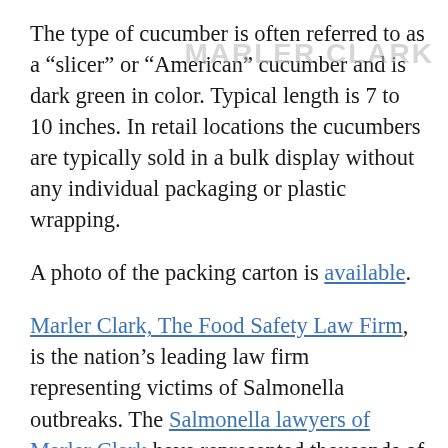The type of cucumber is often referred to as a “slicer” or “American” cucumber and is dark green in color. Typical length is 7 to 10 inches. In retail locations the cucumbers are typically sold in a bulk display without any individual packaging or plastic wrapping.
A photo of the packing carton is available.
Marler Clark, The Food Safety Law Firm, is the nation’s leading law firm representing victims of Salmonella outbreaks. The Salmonella lawyers of Marler Clark have represented thousands of victims of Salmonella and other foodborne illness outbreaks and have recovered over $600 million for clients. Marler Clark is the only law firm in the nation with a practice focused exclusively on foodborne illness litigation. Our Salmonella lawyers have litigated Salmonella cases stemming from